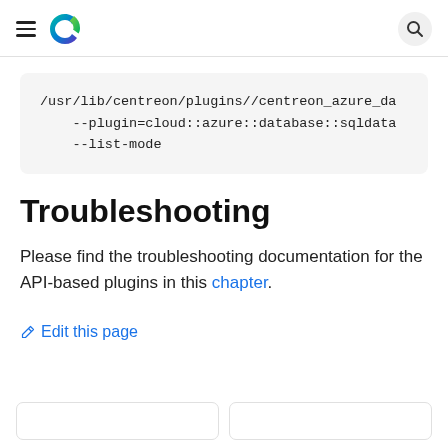Centreon logo and navigation header
/usr/lib/centreon/plugins//centreon_azure_da
    --plugin=cloud::azure::database::sqldata
    --list-mode
Troubleshooting
Please find the troubleshooting documentation for the API-based plugins in this chapter.
✏ Edit this page